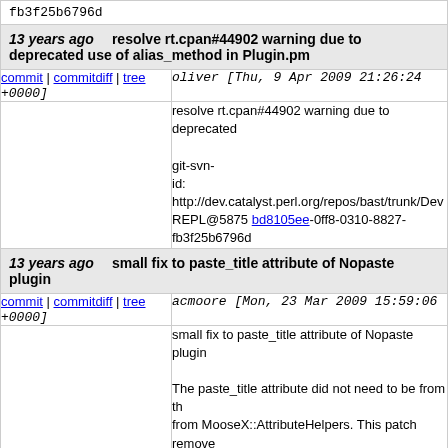fb3f25b6796d
13 years ago  resolve rt.cpan#44902 warning due to deprecated use of alias_method in Plugin.pm
commit | commitdiff | tree  oliver [Thu, 9 Apr 2009 21:26:24 +0000]
resolve rt.cpan#44902 warning due to deprecated git-svn-id: http://dev.catalyst.perl.org/repos/bast/trunk/Dev REPL@5875 bd8105ee-0ff8-0310-8827-fb3f25b6796d
13 years ago  small fix to paste_title attribute of Nopaste plugin
commit | commitdiff | tree  acmoore [Mon, 23 Mar 2009 15:59:06 +0000]
small fix to paste_title attribute of Nopaste plugin

The paste_title attribute did not need to be from th from MooseX::AttributeHelpers. This patch remove definition.

git-svn-id: http://dev.catalyst.perl.org/repos/bast/trunk/Dev